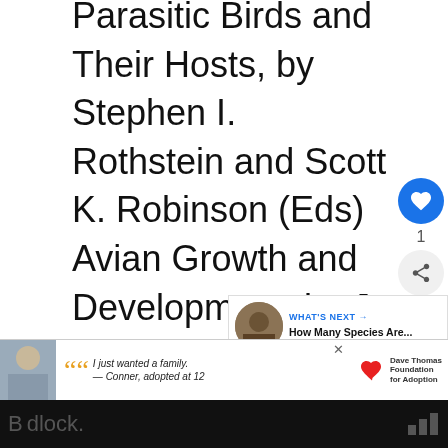Parasitic Birds and Their Hosts, by Stephen I. Rothstein and Scott K. Robinson (Eds) Avian Growth and Development, by J. Matthias Starck and robert E. Ricklefs (Eds.) The Evolution of Avian Breeding Systems, by David J. Ligon